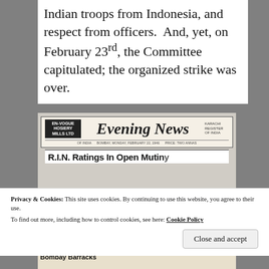Indian troops from Indonesia, and respect from officers.  And, yet, on February 23rd, the Committee capitulated; the organized strike was over.
[Figure (photo): Photograph of the front page of the Evening News of India newspaper, showing the masthead 'Evening News' in blackletter font, an 'En-Vogue' advertisement box on the left, and a headline reading 'R.I.N. Ratings In Open Mutiny' at the bottom. Below that a partial headline 'SEIZE ARMOUR IN Bombay Barracks'.]
Privacy & Cookies: This site uses cookies. By continuing to use this website, you agree to their use. To find out more, including how to control cookies, see here: Cookie Policy